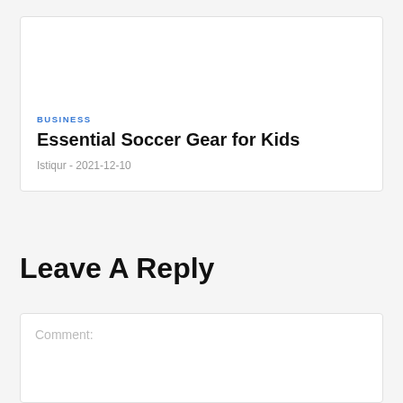BUSINESS
Essential Soccer Gear for Kids
Istiqur - 2021-12-10
Leave A Reply
Comment: